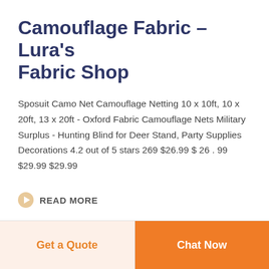Camouflage Fabric – Lura's Fabric Shop
Sposuit Camo Net Camouflage Netting 10 x 10ft, 10 x 20ft, 13 x 20ft - Oxford Fabric Camouflage Nets Military Surplus - Hunting Blind for Deer Stand, Party Supplies Decorations 4.2 out of 5 stars 269 $26.99 $ 26 . 99 $29.99 $29.99
READ MORE